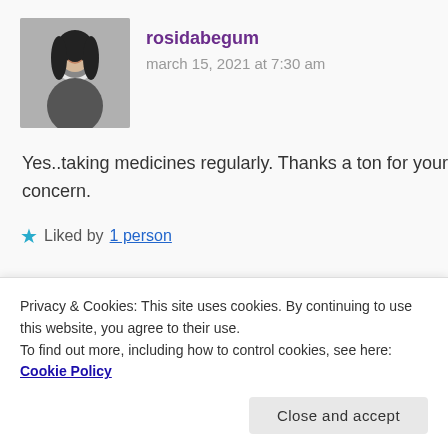[Figure (photo): Black and white profile photo of rosidabegum — a woman with long dark hair, smiling]
rosidabegum
march 15, 2021 at 7:30 am
Yes..taking medicines regularly. Thanks a ton for your concern.
Liked by 1 person
[Figure (illustration): Geometric star/quilt pattern avatar in dark red/maroon for Lokesh Sastya]
Lokesh Sastya
march 15, 2021 at 7:43 am
Privacy & Cookies: This site uses cookies. By continuing to use this website, you agree to their use.
To find out more, including how to control cookies, see here: Cookie Policy
Close and accept